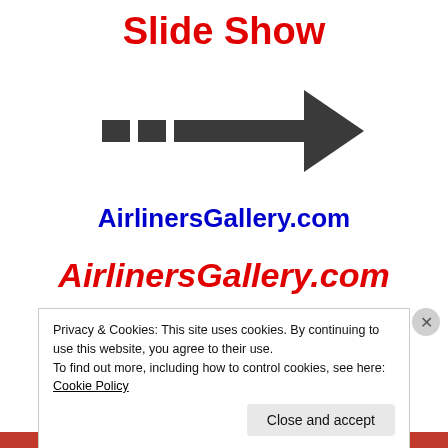Slide Show
[Figure (illustration): A dashed arrow pointing right, composed of two small squares followed by a long horizontal line ending in a right-pointing arrowhead, in dark gray/charcoal color.]
AirlinersGallery.com
AirlinersGallery.com
Privacy & Cookies: This site uses cookies. By continuing to use this website, you agree to their use.
To find out more, including how to control cookies, see here:
Cookie Policy
Close and accept